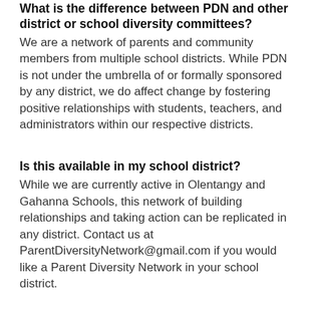What is the difference between PDN and other district or school diversity committees?
We are a network of parents and community members from multiple school districts. While PDN is not under the umbrella of or formally sponsored by any district, we do affect change by fostering positive relationships with students, teachers, and administrators within our respective districts.
Is this available in my school district?
While we are currently active in Olentangy and Gahanna Schools, this network of building relationships and taking action can be replicated in any district. Contact us at ParentDiversityNetwork@gmail.com if you would like a Parent Diversity Network in your school district.